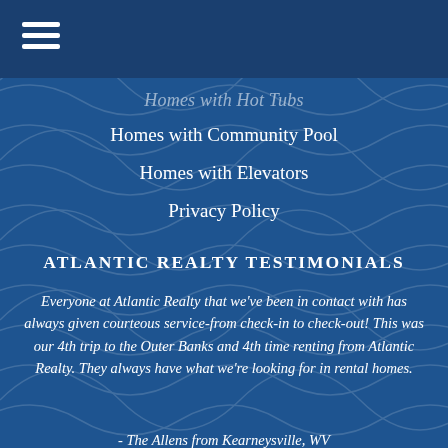Homes with Hot Tubs
Homes with Community Pool
Homes with Elevators
Privacy Policy
ATLANTIC REALTY TESTIMONIALS
Everyone at Atlantic Realty that we've been in contact with has always given courteous service-from check-in to check-out!  This was our 4th trip to the Outer Banks and 4th time renting from Atlantic Realty. They always have what we're looking for in rental homes.
- The Allens from Kearneysville, WV
Everyone I worked with at Atlantic Realty was very helpful, professional, courteous and replied to questions very timely. During